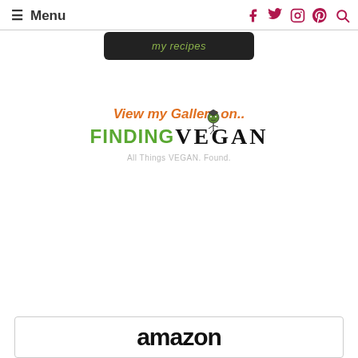☰ Menu
[Figure (logo): Social media icons: Facebook, Twitter, Instagram, Pinterest, Search — in dark pink/crimson color]
[Figure (logo): My recipes button — dark rounded rectangle with olive/yellow-green italic text]
View my Gallery on..
[Figure (logo): Finding Vegan logo — FINDING in green, VEGAN in black serif with mascot character, tagline: All Things VEGAN. Found.]
All Things VEGAN. Found.
[Figure (logo): Amazon logo/box — partial view at bottom of page]